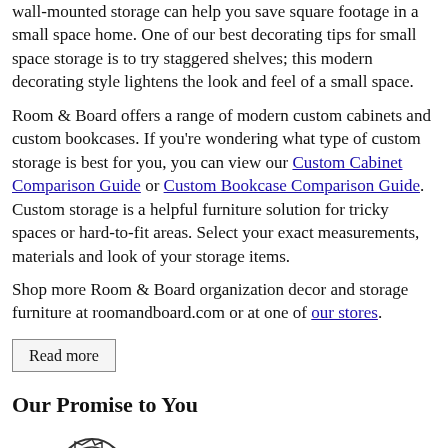wall-mounted storage can help you save square footage in a small space home. One of our best decorating tips for small space storage is to try staggered shelves; this modern decorating style lightens the look and feel of a small space.
Room & Board offers a range of modern custom cabinets and custom bookcases. If you're wondering what type of custom storage is best for you, you can view our Custom Cabinet Comparison Guide or Custom Bookcase Comparison Guide. Custom storage is a helpful furniture solution for tricky spaces or hard-to-fit areas. Select your exact measurements, materials and look of your storage items.
Shop more Room & Board organization decor and storage furniture at roomandboard.com or at one of our stores.
Read more
Our Promise to You
[Figure (illustration): An award ribbon / medal icon with a circular badge on top and ribbon tails below, drawn in outline style. A bullet point is shown to the left of the icon.]